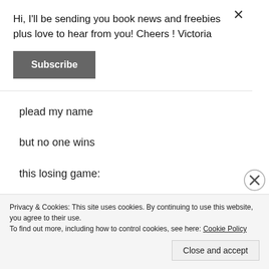Hi, I'll be sending you book news and freebies plus love to hear from you! Cheers ! Victoria
Subscribe
plead my name
but no one wins
this losing game:
Privacy & Cookies: This site uses cookies. By continuing to use this website, you agree to their use.
To find out more, including how to control cookies, see here: Cookie Policy
Close and accept